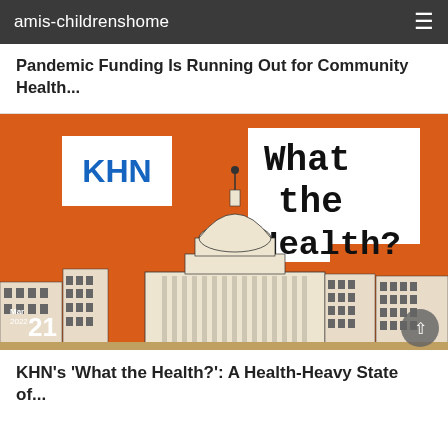amis-childrenshome
Pandemic Funding Is Running Out for Community Health...
[Figure (illustration): KHN 'What the Health?' podcast artwork showing orange background with illustrated U.S. Capitol building silhouette, KHN logo in white box top-left, and bold text 'What the Health?' in white box top-right. Date overlay shows 'May 2022' with large number '21'.]
KHN's 'What the Health?': A Health-Heavy State of...